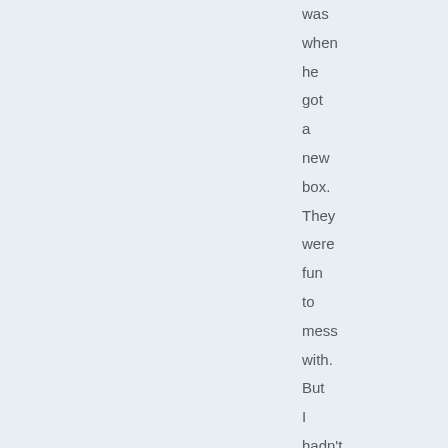was when he got a new box. They were fun to mess with. But I hadn't even thought about them in 45